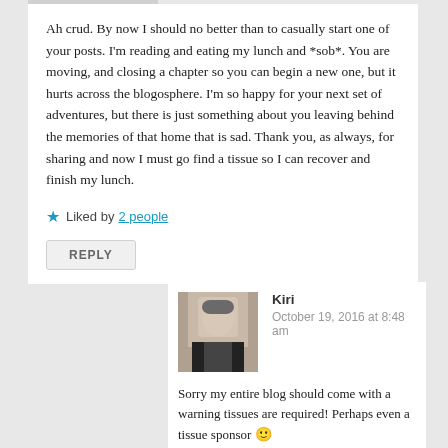Ah crud. By now I should no better than to casually start one of your posts. I'm reading and eating my lunch and *sob*. You are moving, and closing a chapter so you can begin a new one, but it hurts across the blogosphere. I'm so happy for your next set of adventures, but there is just something about you leaving behind the memories of that home that is sad. Thank you, as always, for sharing and now I must go find a tissue so I can recover and finish my lunch.
★ Liked by 2 people
REPLY
[Figure (photo): Avatar photo of commenter Kiri — a woman in a black outfit, partial outdoor background]
Kiri
October 19, 2016 at 8:48 am
Sorry my entire blog should come with a warning tissues are required! Perhaps even a tissue sponsor 🙂